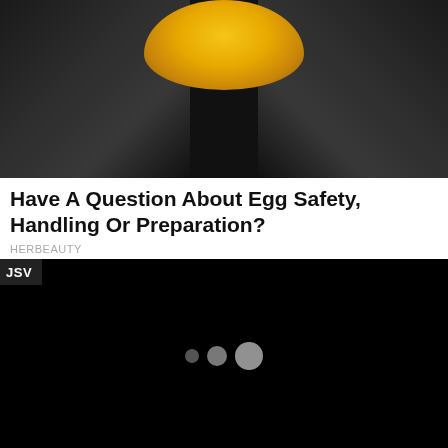[Figure (photo): Close-up photo of a cracked egg showing the yolk against dark egg shell background]
Have A Question About Egg Safety, Handling Or Preparation?
HERBEAUTY
[Figure (screenshot): Black video player loading screen with JSV badge in top-left corner and three loading dots (small, medium, large) in the center]
[Figure (photo): Partial bottom image strip showing purple/dark gradient, beginning of another article image]